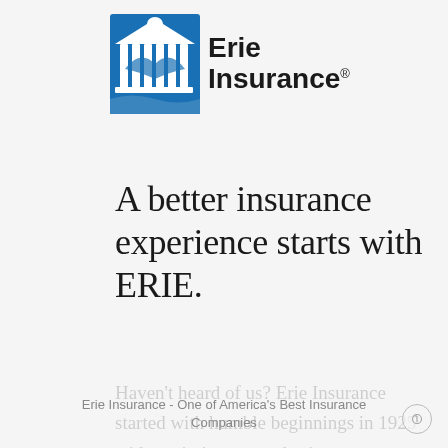[Figure (logo): Erie Insurance logo — blue building/eagle icon with 'Erie Insurance®' wordmark in bold black text]
A better insurance experience starts with ERIE.
Haven't heard of us? Erie Insurance started with humble beginnings in 1925 with a mission to emphasize customer service above all else. Though we've grown to reach the Fortune 500 list, we still haven't lost the human touch.
Erie Insurance - One of America's Best Insurance Companies